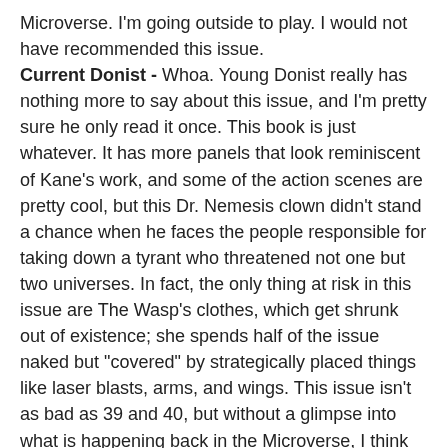Microverse. I'm going outside to play. I would not have recommended this issue. Current Donist - Whoa. Young Donist really has nothing more to say about this issue, and I'm pretty sure he only read it once. This book is just whatever. It has more panels that look reminiscent of Kane's work, and some of the action scenes are pretty cool, but this Dr. Nemesis clown didn't stand a chance when he faces the people responsible for taking down a tyrant who threatened not one but two universes. In fact, the only thing at risk in this issue are The Wasp's clothes, which get shrunk out of existence; she spends half of the issue naked but "covered" by strategically placed things like laser blasts, arms, and wings. This issue isn't as bad as 39 and 40, but without a glimpse into what is happening back in the Microverse, I think I'll just flip through it when my next reread pops up in a couple years. I don't recommend this one.
<sigh> There you go. Nothing all that great, on one of my all-time-favorite comic book series. But that's okay, I know what is coming, and trust me, it is going to be mind blowing. Hey,